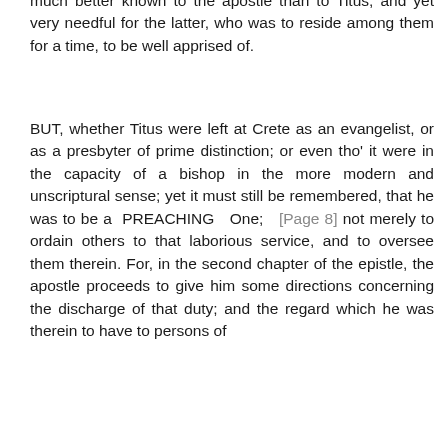much better known to the apostle than to Titus; and yet very needful for the latter, who was to reside among them for a time, to be well apprised of.
BUT, whether Titus were left at Crete as an evangelist, or as a presbyter of prime distinction; or even tho' it were in the capacity of a bishop in the more modern and unscriptural sense; yet it must still be remembered, that he was to be a PREACHING One; [Page 8] not merely to ordain others to that laborious service, and to oversee them therein. For, in the second chapter of the epistle, the apostle proceeds to give him some directions concerning the discharge of that duty; and the regard which he was therein to have to persons of